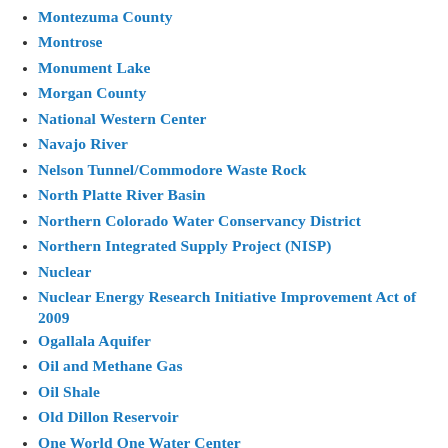Montezuma County
Montrose
Monument Lake
Morgan County
National Western Center
Navajo River
Nelson Tunnel/Commodore Waste Rock
North Platte River Basin
Northern Colorado Water Conservancy District
Northern Integrated Supply Project (NISP)
Nuclear
Nuclear Energy Research Initiative Improvement Act of 2009
Ogallala Aquifer
Oil and Methane Gas
Oil Shale
Old Dillon Reservoir
One World One Water Center
Pagosa Springs
Paonia Reservoir
Parker
Pecos River
Penley Dam Project
Peru Creek Basin
Piedra River
Pine Creek Regional Water Authority